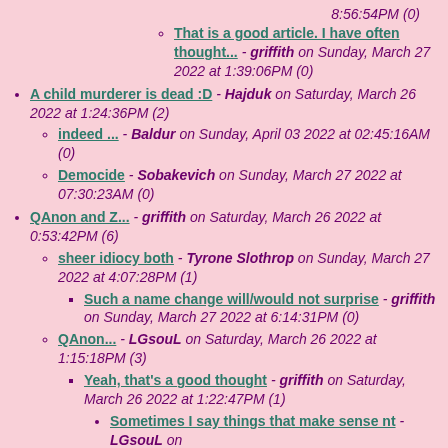8:56:54PM (0)
That is a good article. I have often thought... - griffith on Sunday, March 27 2022 at 1:39:06PM (0)
A child murderer is dead :D - Hajduk on Saturday, March 26 2022 at 1:24:36PM (2)
indeed ... - Baldur on Sunday, April 03 2022 at 02:45:16AM (0)
Democide - Sobakevich on Sunday, March 27 2022 at 07:30:23AM (0)
QAnon and Z... - griffith on Saturday, March 26 2022 at 0:53:42PM (6)
sheer idiocy both - Tyrone Slothrop on Sunday, March 27 2022 at 4:07:28PM (1)
Such a name change will/would not surprise - griffith on Sunday, March 27 2022 at 6:14:31PM (0)
QAnon... - LGsouL on Saturday, March 26 2022 at 1:15:18PM (3)
Yeah, that's a good thought - griffith on Saturday, March 26 2022 at 1:22:47PM (1)
Sometimes I say things that make sense nt - LGsouL on